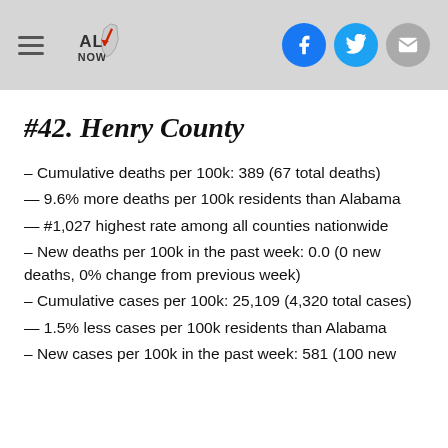ALNow logo with hamburger menu and social share icons (Facebook, Twitter, Email)
#42. Henry County
– Cumulative deaths per 100k: 389 (67 total deaths)
— 9.6% more deaths per 100k residents than Alabama
— #1,027 highest rate among all counties nationwide
– New deaths per 100k in the past week: 0.0 (0 new deaths, 0% change from previous week)
– Cumulative cases per 100k: 25,109 (4,320 total cases)
— 1.5% less cases per 100k residents than Alabama
– New cases per 100k in the past week: 581 (100 new